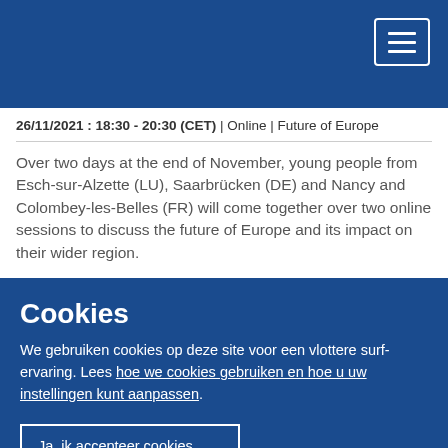26/11/2021 : 18:30 - 20:30 (CET) | Online | Future of Europe
Over two days at the end of November, young people from Esch-sur-Alzette (LU), Saarbrücken (DE) and Nancy and Colombey-les-Belles (FR) will come together over two online sessions to discuss the future of Europe and its impact on their wider region.
Cookies
We gebruiken cookies op deze site voor een vlottere surfervaring. Lees hoe we cookies gebruiken en hoe u uw instellingen kunt aanpassen.
Ja, ik accepteer cookies
Nee, ik accepteer geen cookies